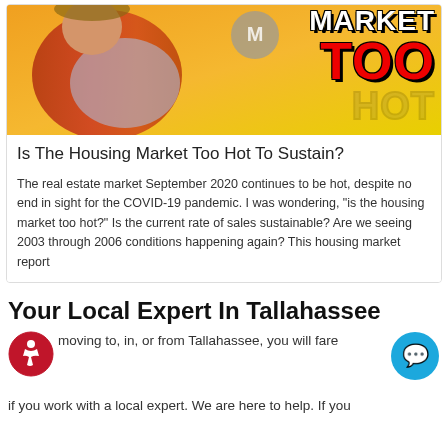[Figure (photo): Promotional image showing a man in a Hawaiian shirt holding a fan, with bold text 'MARKET TOO HOT' on an orange/yellow background]
Is The Housing Market Too Hot To Sustain?
The real estate market September 2020 continues to be hot, despite no end in sight for the COVID-19 pandemic. I was wondering, "is the housing market too hot?" Is the current rate of sales sustainable? Are we seeing 2003 through 2006 conditions happening again? This housing market report
Your Local Expert In Tallahassee
moving to, in, or from Tallahassee, you will fare
if you work with a local expert. We are here to help. If you